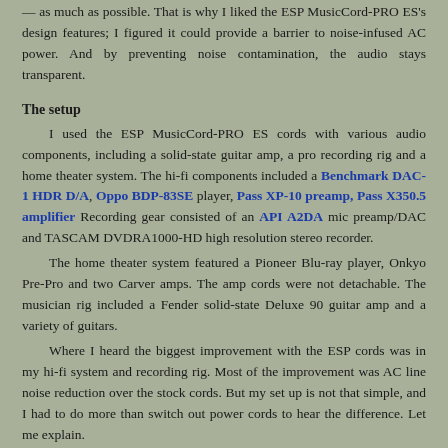— as much as possible. That is why I liked the ESP MusicCord-PRO ES's design features; I figured it could provide a barrier to noise-infused AC power. And by preventing noise contamination, the audio stays transparent.
The setup
I used the ESP MusicCord-PRO ES cords with various audio components, including a solid-state guitar amp, a pro recording rig and a home theater system. The hi-fi components included a Benchmark DAC-1 HDR D/A, Oppo BDP-83SE player, Pass XP-10 preamp, Pass X350.5 amplifier Recording gear consisted of an API A2DA mic preamp/DAC and TASCAM DVDRA1000-HD high resolution stereo recorder.
The home theater system featured a Pioneer Blu-ray player, Onkyo Pre-Pro and two Carver amps. The amp cords were not detachable. The musician rig included a Fender solid-state Deluxe 90 guitar amp and a variety of guitars.
Where I heard the biggest improvement with the ESP cords was in my hi-fi system and recording rig. Most of the improvement was AC line noise reduction over the stock cords. But my set up is not that simple, and I had to do more than switch out power cords to hear the difference. Let me explain.